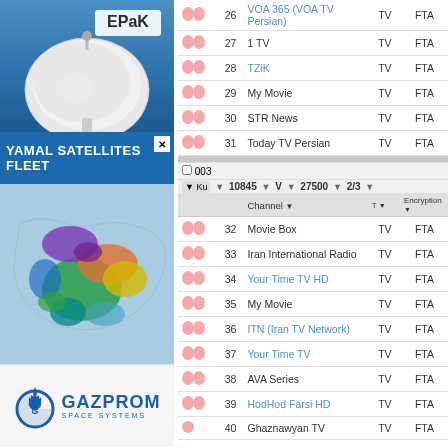[Figure (photo): EPak satellite dish on blue background with EPak logo]
[Figure (infographic): Yamal Satellites Fleet banner with close button]
[Figure (map): World map showing Yamal satellite coverage regions in various colors]
[Figure (logo): Gazprom Space Systems logo with flame icon]
|  | # | Channel | T | Encryption |
| --- | --- | --- | --- | --- |
|  | 26 | VOA 365 (VOA TV Persian) | TV | FTA |
|  | 27 | 1 TV | TV | FTA |
|  | 28 | TZiK | TV | FTA |
|  | 29 | My Movie | TV | FTA |
|  | 30 | STR News | TV | FTA |
|  | 31 | Today TV Persian | TV | FTA |
|  | # | Channel | T | Encryption |
| --- | --- | --- | --- | --- |
| 003 | Ku | 10845 V 27500 2/3 |  |  |
|  | 32 | Movie Box | TV | FTA |
|  | 33 | Iran International Radio | TV | FTA |
|  | 34 | Your Time TV HD | TV | FTA |
|  | 35 | My Movie | TV | FTA |
|  | 36 | ITN (Iran TV Network) | TV | FTA |
|  | 37 | Your Time TV | TV | FTA |
|  | 38 | AVA Series | TV | FTA |
|  | 39 | HodHod Farsi HD | TV | FTA |
|  | 40 | Ghaznawyan TV | TV | FTA |